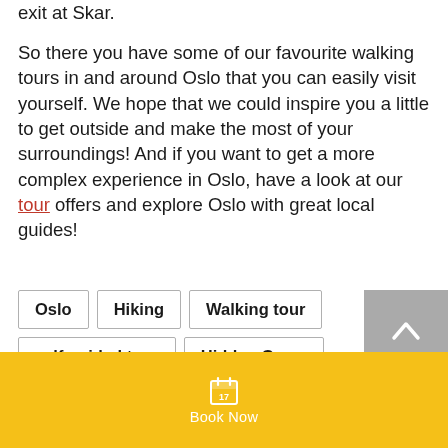exit at Skar.
So there you have some of our favourite walking tours in and around Oslo that you can easily visit yourself. We hope that we could inspire you a little to get outside and make the most of your surroundings! And if you want to get a more complex experience in Oslo, have a look at our tour offers and explore Oslo with great local guides!
Oslo
Hiking
Walking tour
self guided tour
Hidden Gems
nature
leisure
explore
Book Now